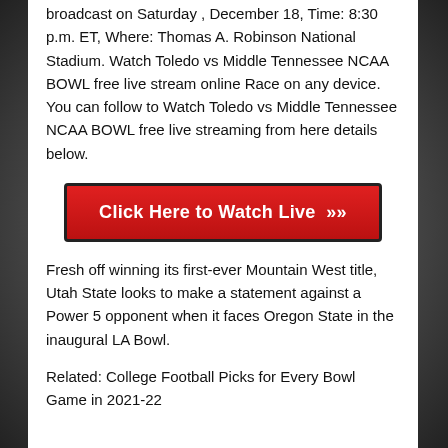broadcast on Saturday , December 18, Time: 8:30 p.m. ET, Where: Thomas A. Robinson National Stadium. Watch Toledo vs Middle Tennessee NCAA BOWL free live stream online Race on any device. You can follow to Watch Toledo vs Middle Tennessee NCAA BOWL free live streaming from here details below.
[Figure (other): Red button with text 'Click Here to Watch Live' and double chevron arrows]
Fresh off winning its first-ever Mountain West title, Utah State looks to make a statement against a Power 5 opponent when it faces Oregon State in the inaugural LA Bowl.
Related: College Football Picks for Every Bowl Game in 2021-22